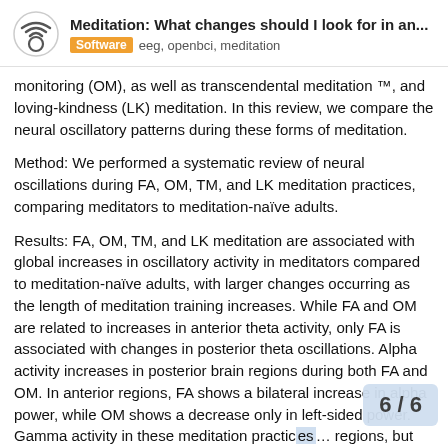Meditation: What changes should I look for in an...
Software  eeg, openbci, meditation
monitoring (OM), as well as transcendental meditation ™, and loving-kindness (LK) meditation. In this review, we compare the neural oscillatory patterns during these forms of meditation.
Method: We performed a systematic review of neural oscillations during FA, OM, TM, and LK meditation practices, comparing meditators to meditation-naïve adults.
Results: FA, OM, TM, and LK meditation are associated with global increases in oscillatory activity in meditators compared to meditation-naïve adults, with larger changes occurring as the length of meditation training increases. While FA and OM are related to increases in anterior theta activity, only FA is associated with changes in posterior theta oscillations. Alpha activity increases in posterior brain regions during both FA and OM. In anterior regions, FA shows a bilateral increase in alpha power, while OM shows a decrease only in left-sided power. Gamma activity in these meditation practic... regions, but increases are variable in parie...
6 / 6